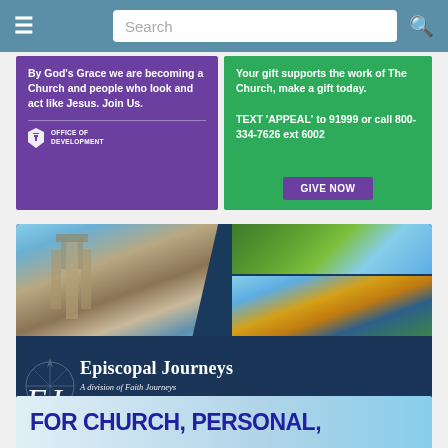Search
[Figure (infographic): Purple advertisement banner: 'By God's Grace we are becoming a Church and people who look and act like Jesus. Join Us.' with Office of Development shield logo]
[Figure (infographic): Green advertisement banner: 'Your gift supports the work of The Church, make a gift today. TEXT APPEAL to 91999 or call 800-334-7626 ext 6002' with GIVE NOW button]
[Figure (infographic): Episcopal Journeys travel advertisement with photos of Westminster Abbey, green landscape, and Dome of the Rock Jerusalem. Text: Episcopal Journeys, A division of Faith Journeys, episcopaljourneys.com]
[Figure (infographic): Bottom advertisement banner beginning with text: FOR CHURCH, PERSONAL,]